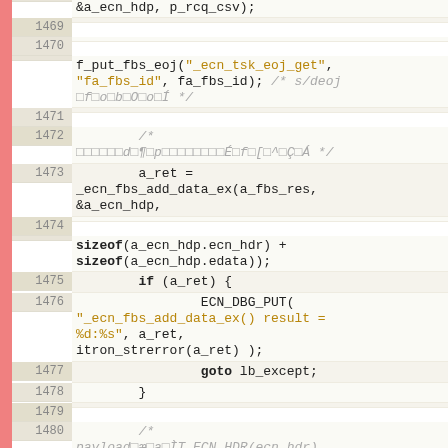[Figure (screenshot): Source code viewer showing C code lines 1469-1480 with line numbers, a red gutter on the left, and syntax highlighting. Code shows f_put_fbs_eoj, _ecn_fbs_add_data_ex, sizeof, if/goto, and ECN_DBG_PUT calls.]